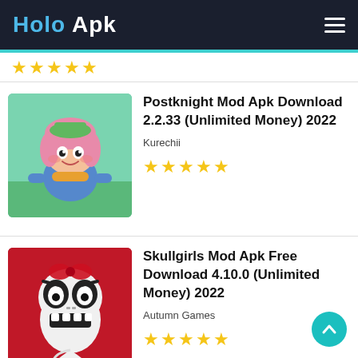Holo Apk
[Figure (illustration): Postknight game app icon: anime-style girl character with pink hair and blue outfit]
Postknight Mod Apk Download 2.2.33 (Unlimited Money) 2022
Kurechii
[Figure (illustration): Skullgirls game app icon: cartoon skull rabbit character on red background]
Skullgirls Mod Apk Free Download 4.10.0 (Unlimited Money) 2022
Autumn Games
Advertisements